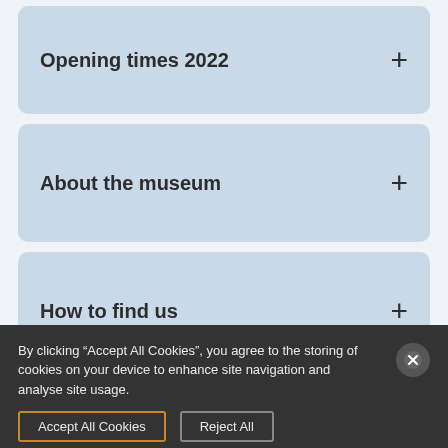Opening times 2022
About the museum
How to find us
Admission prices
By clicking “Accept All Cookies”, you agree to the storing of cookies on your device to enhance site navigation and analyse site usage.